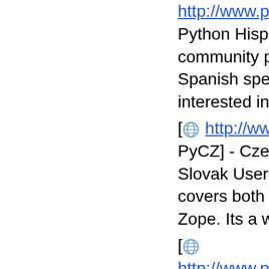[globe icon http://www.pythonhispano...] Python Hispano] - community portal for Spanish speakers interested in Python.
[globe icon http://www.py.cz/ PyCZ] - Czech and Slovak User Group covers both Python and Zope. Its a wiki now.
[globe icon http://www.python.de/ Deutsche web site] contains forums for discussing Python in German.
[globe icon http://www.py.nl PUN] - Python Users Nederland.
[globe icon